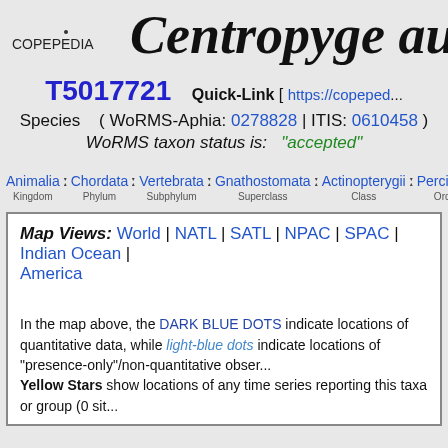COPEPEDIA
Centropyge au...
T5017721   Quick-Link [ https://copeped...
Species   ( WoRMS-Aphia: 0278828 | ITIS: 0610458 )
WoRMS taxon status is:   "accepted"
Animalia : Chordata : Vertebrata : Gnathostomata : Actinopterygii : Perciform...
Map Views: World | NATL | SATL | NPAC | SPAC | Indian Ocean | ... America
In the map above, the DARK BLUE DOTS indicate locations of quantitative data, while light-blue dots indicate locations of "presence-only"/non-quantitative observations. Yellow Stars show locations of any time series reporting this taxa or group (0 sit...